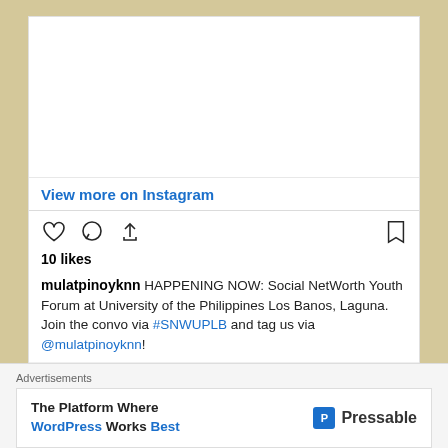[Figure (screenshot): Instagram post screenshot showing 'View more on Instagram' link, action icons (heart, comment, share, bookmark), 10 likes, username mulatpinoyknn, and caption about Social NetWorth Youth Forum at UPLB]
View more on Instagram
10 likes
mulatpinoyknn HAPPENING NOW: Social NetWorth Youth Forum at University of the Philippines Los Banos, Laguna. Join the convo via #SNWUPLB and tag us via @mulatpinoyknn!
Add a comment...
Advertisements
The Platform Where WordPress Works Best | Pressable